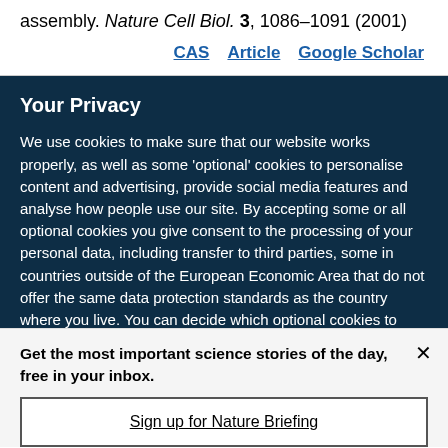assembly. Nature Cell Biol. 3, 1086–1091 (2001)
CAS  Article  Google Scholar
Your Privacy
We use cookies to make sure that our website works properly, as well as some 'optional' cookies to personalise content and advertising, provide social media features and analyse how people use our site. By accepting some or all optional cookies you give consent to the processing of your personal data, including transfer to third parties, some in countries outside of the European Economic Area that do not offer the same data protection standards as the country where you live. You can decide which optional cookies to accept by clicking on 'Manage Settings', where you can
Get the most important science stories of the day, free in your inbox.
Sign up for Nature Briefing